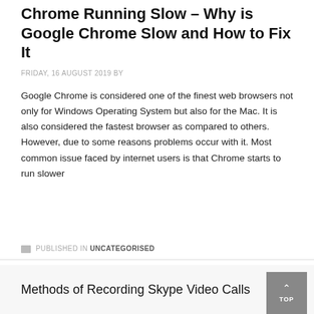Chrome Running Slow – Why is Google Chrome Slow and How to Fix It
FRIDAY, 16 AUGUST 2019 BY
Google Chrome is considered one of the finest web browsers not only for Windows Operating System but also for the Mac. It is also considered the fastest browser as compared to others. However, due to some reasons problems occur with it. Most common issue faced by internet users is that Chrome starts to run slower
PUBLISHED IN UNCATEGORISED
Methods of Recording Skype Video Calls